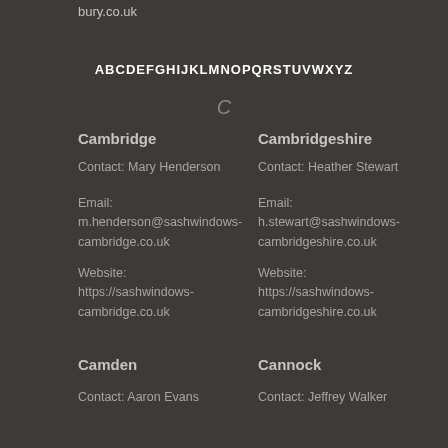bury.co.uk
ABCDEFGHIJKLMNOPQRSTUVWXYZ
C
Cambridge
Contact: Mary Henderson
Email:
m.henderson@sashwindows-cambridge.co.uk
Website:
https://sashwindows-cambridge.co.uk
Cambridgeshire
Contact: Heather Stewart
Email:
h.stewart@sashwindows-cambridgeshire.co.uk
Website:
https://sashwindows-cambridgeshire.co.uk
Camden
Contact: Aaron Evans
Cannock
Contact: Jeffrey Walker